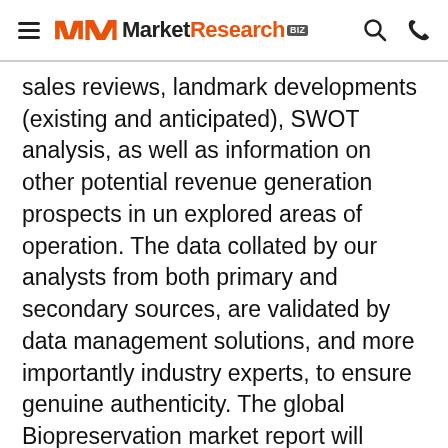MarketResearch.biz
sales reviews, landmark developments (existing and anticipated), SWOT analysis, as well as information on other potential revenue generation prospects in un explored areas of operation. The data collated by our analysts from both primary and secondary sources, are validated by data management solutions, and more importantly industry experts, to ensure genuine authenticity. The global Biopreservation market report will encompass imminent threats or challenges from existing industry contenders, as well as potential